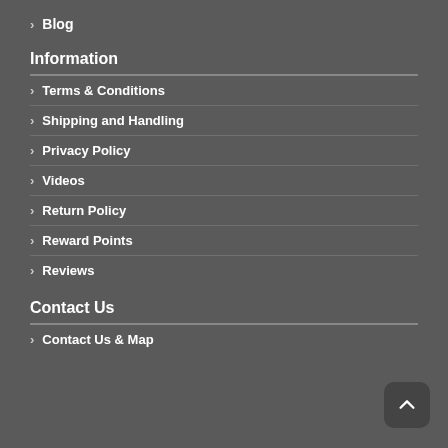> Blog
Information
> Terms & Conditions
> Shipping and Handling
> Privacy Policy
> Videos
> Return Policy
> Reward Points
> Reviews
Contact Us
> Contact Us & Map